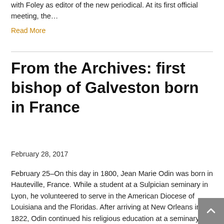with Foley as editor of the new periodical. At its first official meeting, the…
Read More
From the Archives: first bishop of Galveston born in France
February 28, 2017
February 25–On this day in 1800, Jean Marie Odin was born in Hauteville, France. While a student at a Sulpician seminary in Lyon, he volunteered to serve in the American Diocese of Louisiana and the Floridas. After arriving at New Orleans in 1822, Odin continued his religious education at a seminary in Missouri, where he…